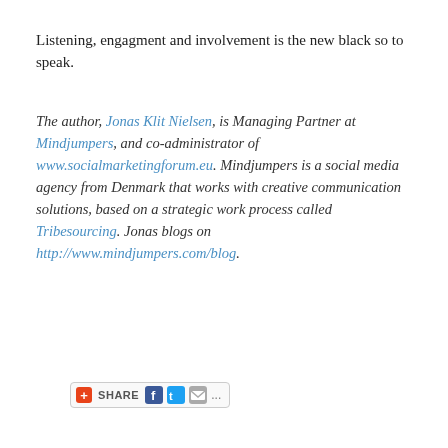Listening, engagment and involvement is the new black so to speak.
The author, Jonas Klit Nielsen, is Managing Partner at Mindjumpers, and co-administrator of www.socialmarketingforum.eu. Mindjumpers is a social media agency from Denmark that works with creative communication solutions, based on a strategic work process called Tribesourcing. Jonas blogs on http://www.mindjumpers.com/blog.
[Figure (other): Share bar with AddThis plus icon, SHARE label, Facebook icon, Twitter icon, email icon, and ellipsis]